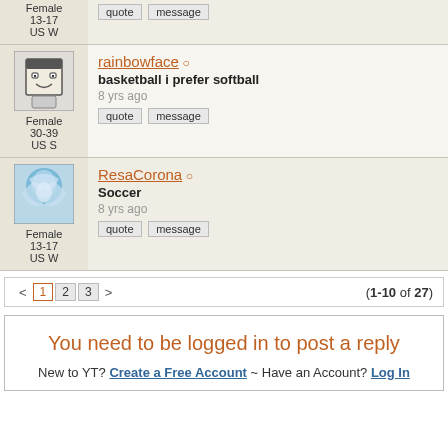Female 13-17 US W
rainbowface ○
basketball i prefer softball
8 yrs ago
Female 30-39 US S
ResaCorona ○
Soccer
8 yrs ago
Female 13-17 US W
< 1 2 3 > (1-10 of 27)
You need to be logged in to post a reply
New to YT? Create a Free Account ~ Have an Account? Log In